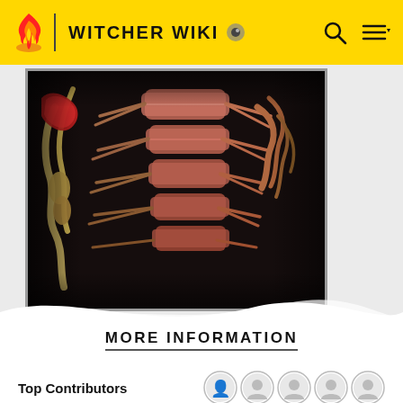WITCHER WIKI
[Figure (illustration): Dark fantasy illustration showing skeletal/creature anatomy with ribs and claw-like appendages in copper/red tones against a black background]
MORE INFORMATION
Top Contributors
Categories
Other Languages: